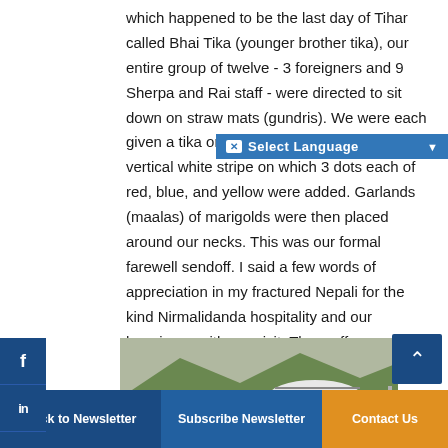which happened to be the last day of Tihar called Bhai Tika (younger brother tika), our entire group of twelve - 3 foreigners and 9 Sherpa and Rai staff - were directed to sit down on straw mats (gundris). We were each given a tika on the center of the forehead - vertical white stripe on which 3 dots each of red, blue, and yellow were added. Garlands (maalas) of marigolds were then placed around our necks. This was our formal farewell sendoff. I said a few words of appreciation in my fractured Nepali for the kind Nirmalidanda hospitality and our happiness with our visit. Then, off we marched down, down, down the hill to the bridge across the Sapsup Khola, to begin our first long ascent on the way to Bhojpur.
[Figure (photo): A helicopter on a grassy field with people standing nearby; hills in background]
Back to Newsletter   Subscribe Newsletter   Contact Us